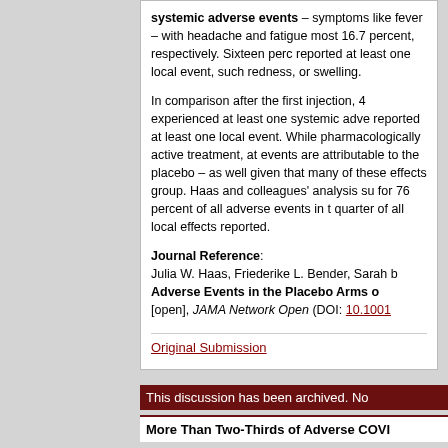systemic adverse events – symptoms like fever – with headache and fatigue most 16.7 percent, respectively. Sixteen perc reported at least one local event, such redness, or swelling.
In comparison after the first injection, 4 experienced at least one systemic adve reported at least one local event. While pharmacologically active treatment, at events are attributable to the placebo – as well given that many of these effects group. Haas and colleagues' analysis su for 76 percent of all adverse events in t quarter of all local effects reported.
Journal Reference: Julia W. Haas, Friederike L. Bender, Sarah b Adverse Events in the Placebo Arms o [open], JAMA Network Open (DOI: 10.1001
Original Submission
This discussion has been archived. No
More Than Two-Thirds of Adverse COVI